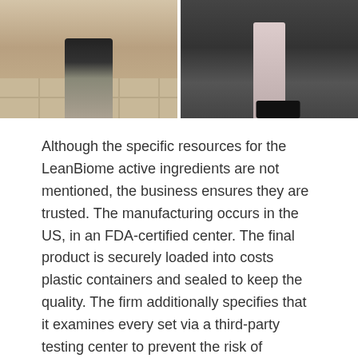[Figure (photo): Two side-by-side photos showing lower body/legs. Left photo shows legs on a tiled floor with dark shorts. Right photo shows a pale leg with a dark shoe on a dark floor.]
Although the specific resources for the LeanBiome active ingredients are not mentioned, the business ensures they are trusted. The manufacturing occurs in the US, in an FDA-certified center. The final product is securely loaded into costs plastic containers and sealed to keep the quality. The firm additionally specifies that it examines every set via a third-party testing center to prevent the risk of contamination.
Greenselect Phytosome( GSP): this is a herbal essence made from eco-friendly tea but with